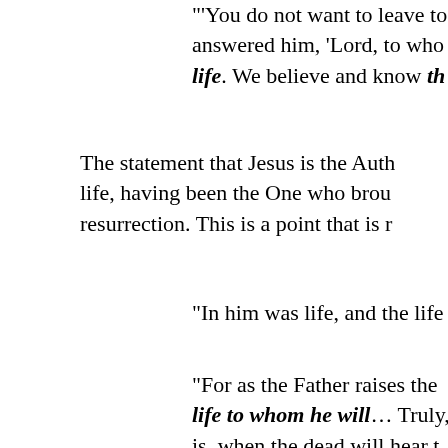"'You do not want to leave to answered him, 'Lord, to who life. We believe and know th
The statement that Jesus is the Auth life, having been the One who brou resurrection. This is a point that is r
"In him was life, and the life
"For as the Father raises the life to whom he will… Truly, is, when the dead will hear t will live. For as the Father ha to have life in himself," John
"'I am the living bread which bread, he will live for ever; the world is my flesh.' … S unless you eat the flesh of th life in you; he who eats my f will raise him up at the last is drink indeed. He who eats I in him. As the living Father who eats me will live becau from heaven, not such as th